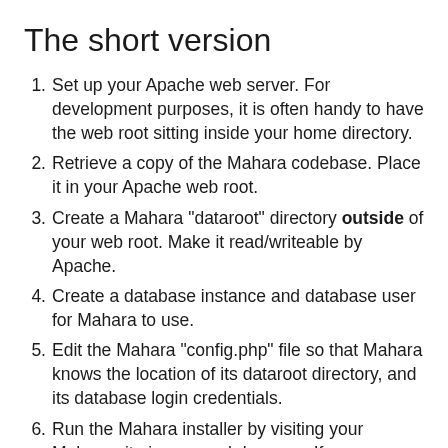The short version
Set up your Apache web server. For development purposes, it is often handy to have the web root sitting inside your home directory.
Retrieve a copy of the Mahara codebase. Place it in your Apache web root.
Create a Mahara "dataroot" directory outside of your web root. Make it read/writeable by Apache.
Create a database instance and database user for Mahara to use.
Edit the Mahara "config.php" file so that Mahara knows the location of its dataroot directory, and its database login credentials.
Run the Mahara installer by visiting your Mahara site in your web browser. If you are missing any required PHP modules, Mahara should tell you. Depending on what you already have installed, you